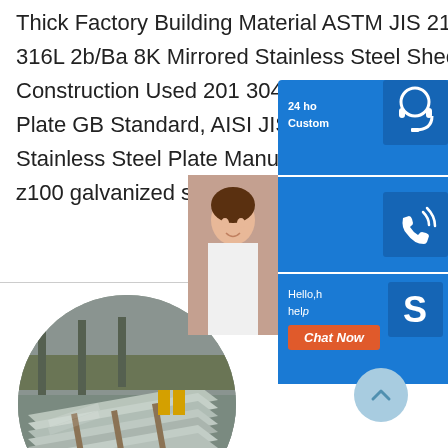Thick Factory Building Material ASTM JIS 210 304 316 316L 2b/Ba 8K Mirrored Stainless Steel Sheet, Construction Used 201 304 Stainless Steel Sheet Plate GB Standard, AISI JIS 304 2*1200mm Stainless Steel Plate Manufacturer high Q… z100 galvanized steel coil DX51D/ S250,28…
[Figure (photo): Circular cropped photo of stacked stainless steel sheets/plates in a factory or warehouse setting]
[Figure (screenshot): Live chat widget panel on right side with headset icon (24h Customer service), phone icon, Skype icon, and Chat Now button. Also shows partial photo of a smiling customer service representative.]